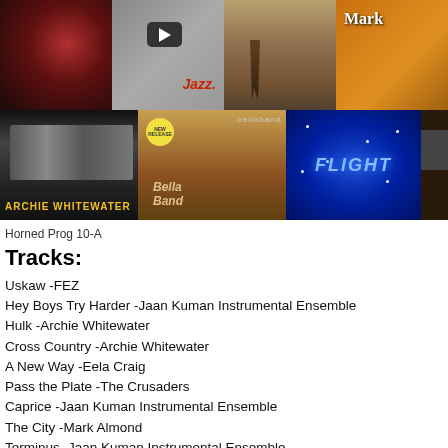[Figure (photo): Grid of album cover images: top row shows smoky red/dark album, YouTube-style jazz play button image, sepia landscape, orange/gold partial cover; bottom row shows Archie Whitewater black and white band photo, Bella Band album cover with starburst, Flight blue sparkle concert image, partial dark image]
Horned Prog 10-A
Tracks:
Uskaw -FEZ
Hey Boys Try Harder -Jaan Kuman Instrumental Ensemble
Hulk -Archie Whitewater
Cross Country -Archie Whitewater
A New Way -Eela Craig
Pass the Plate -The Crusaders
Caprice -Jaan Kuman Instrumental Ensemble
The City -Mark Almond
Terminus -Jaan Kuman Instrumental Ensemble
Faidadiosis -Bella Band